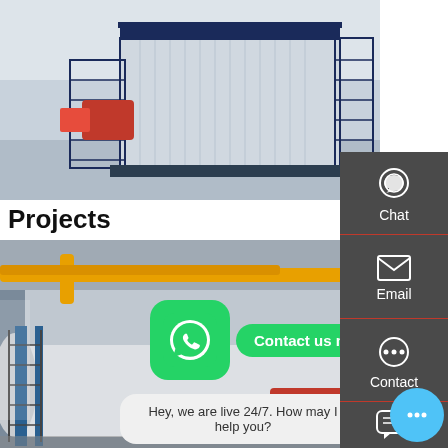[Figure (photo): Industrial steam boiler unit in a large room, containerized blue metal structure with red burner on left, metal stairs and railing, white interior background.]
Projects
[Figure (photo): Interior of a boiler room showing large horizontal white industrial boilers with yellow and blue piping, red engine components, metal grating floor, with WhatsApp contact overlay and chat bubble.]